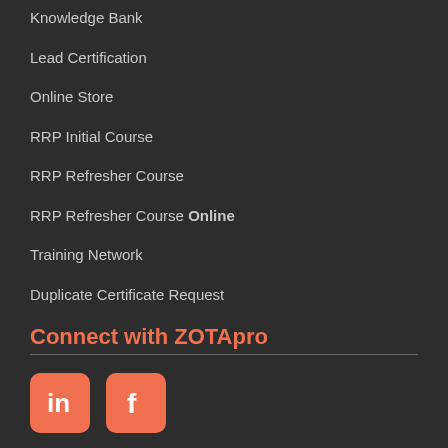Knowledge Bank
Lead Certification
Online Store
RRP Initial Course
RRP Refresher Course
RRP Refresher Course Online
Training Network
Duplicate Certificate Request
Connect with ZOTApro
[Figure (illustration): LinkedIn and Facebook social media icons in orange/salmon color on dark background]